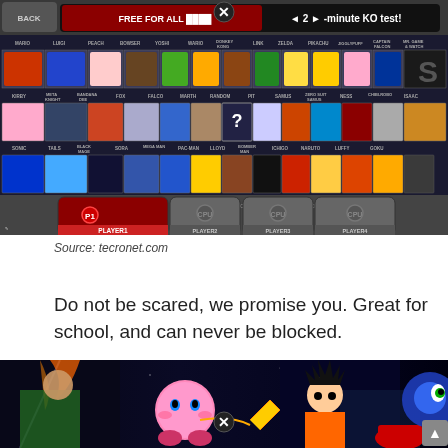[Figure (screenshot): Super Smash Bros. style video game character selection screen showing character roster grid with Free For All mode, 2-minute KO test, player slots P1 through P4]
Source: tecronet.com
Do not be scared, we promise you. Great for school, and can never be blocked.
[Figure (screenshot): Bottom portion showing anime characters including Ichigo from Bleach, Kirby, Goku from Dragon Ball, and other characters in an action scene]